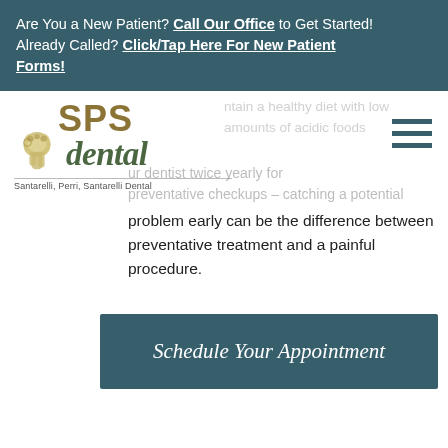Are You a New Patient? Call Our Office to Get Started! Already Called? Click/Tap Here For New Patient Forms!
[Figure (logo): SPS Dental logo — Santarelli, Perri, Santarelli Dental — with tooth icon and stylized text]
ntain a healthy diet with low amounts of acidic foods
ur dentist twice yearly for preventative checkups – catching a potential problem early can be the difference between preventative treatment and a painful procedure.
Schedule Your Appointment